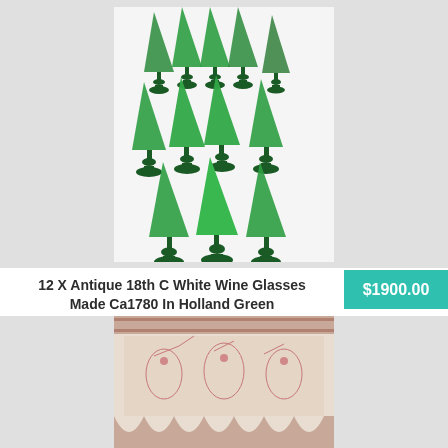[Figure (photo): Set of 12 antique green crystal white wine glasses with dark stems and bases, arranged in a group on a white background]
12 X Antique 18th C White Wine Glasses Made Ca1780 In Holland Green Crystal
$1900.00
Made Between1760 And 1800 In Holland. White Wine Glasses. We Are Delta 98 Den Haag. 12 Authentic Antique,18th Century, Green Colored Crystal. Weight 12 Together Circa 1804 Gr.
[Figure (photo): Decorative fabric valance or pelmet with pink floral toile pattern on cream/beige background with scalloped bottom edge]